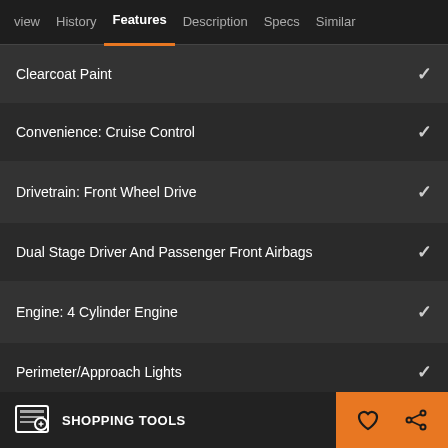view  History  Features  Description  Specs  Similar
Clearcoat Paint ✓
Convenience: Cruise Control ✓
Drivetrain: Front Wheel Drive ✓
Dual Stage Driver And Passenger Front Airbags ✓
Engine: 4 Cylinder Engine ✓
Perimeter/Approach Lights ✓
Safety Features: Stability Control
SHOPPING TOOLS